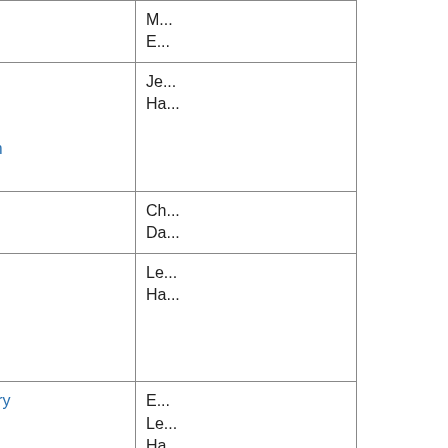| Version | Date | Description | Author |
| --- | --- | --- | --- |
| v8-02-04 | Feb 2010 | biogenic emissions | M... E... |
| v8-02-04 | Feb 2010 | Updated inventory of volcanic SO2 emissions from AeroCom | Je... Ha... |
| v8-02-03 | Oct 2009 | ICOADS ship emissions | Ch... Da... |
| v8-02-03 | Oct 2009 | Updated OTD/LIS redistribution factors for GEOS-5 | Le... Ha... |
| v8-02-02 | Jun 2009 | BOND inventory for BC and OC with monthly variations | E... Le... Ha... |